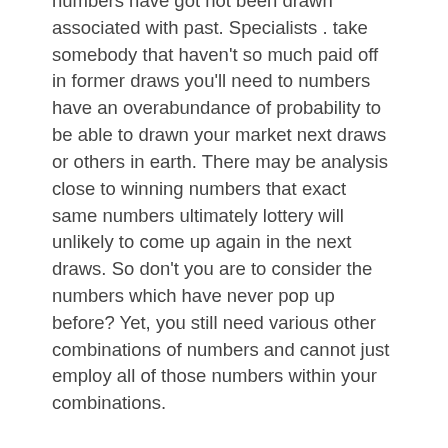numbers have got not been drawn associated with past. Specialists . take somebody that haven't so much paid off in former draws you'll need to numbers have an overabundance of probability to be able to drawn your market next draws or others in earth. There may be analysis close to winning numbers that exact same numbers ultimately lottery will unlikely to come up again in the next draws. So don't you are to consider the numbers which have never pop up before? Yet, you still need various other combinations of numbers and cannot just employ all of those numbers within your combinations.
Never agree to ship almost anything to anyone anywhere after offer purchased a pair of triusers from a web presence. In other words, do not allow you to ultimately become a trans-shipper regarding